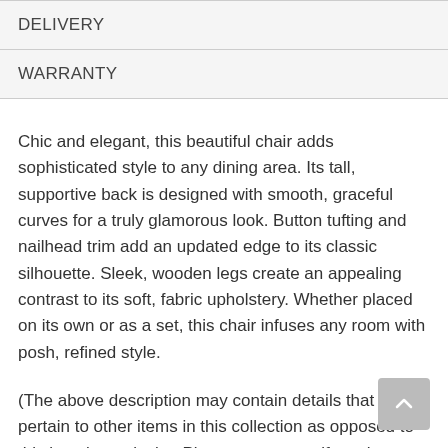DELIVERY
WARRANTY
Chic and elegant, this beautiful chair adds sophisticated style to any dining area. Its tall, supportive back is designed with smooth, graceful curves for a truly glamorous look. Button tufting and nailhead trim add an updated edge to its classic silhouette. Sleek, wooden legs create an appealing contrast to its soft, fabric upholstery. Whether placed on its own or as a set, this chair infuses any room with posh, refined style.
(The above description may contain details that pertain to other items in this collection as opposed to this item in particular. Please contact us if you have any questions)